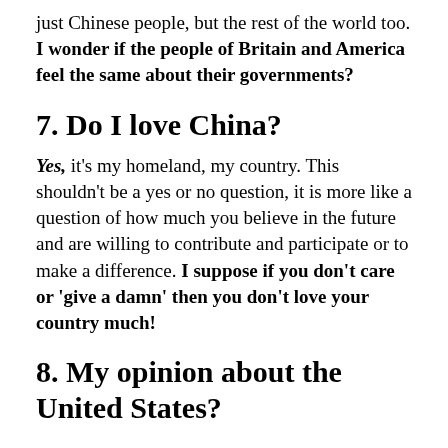just Chinese people, but the rest of the world too. I wonder if the people of Britain and America feel the same about their governments?
7. Do I love China?
Yes, it's my homeland, my country. This shouldn't be a yes or no question, it is more like a question of how much you believe in the future and are willing to contribute and participate or to make a difference. I suppose if you don't care or 'give a damn' then you don't love your country much!
8. My opinion about the United States?